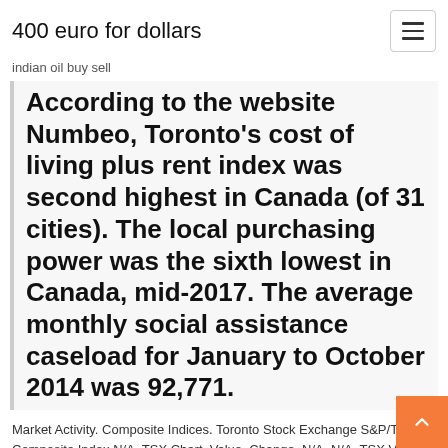400 euro for dollars
indian oil buy sell
According to the website Numbeo, Toronto's cost of living plus rent index was second highest in Canada (of 31 cities). The local purchasing power was the sixth lowest in Canada, mid-2017. The average monthly social assistance caseload for January to October 2014 was 92,771.
Market Activity. Composite Indices. Toronto Stock Exchange S&P/TSX Composite Index N/A. TSX Chart. Value, Change. N/A. N/A. TSX Venture Exchange  GSPTSE | A complete S&P/TSX